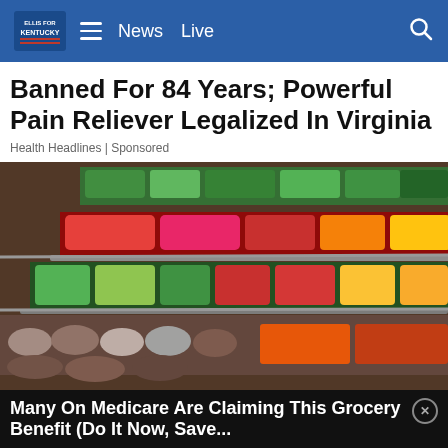News  Live
Banned For 84 Years; Powerful Pain Reliever Legalized In Virginia
Health Headlines | Sponsored
[Figure (photo): Grocery store produce aisle showing colorful vegetables and fruits on tiered shelving, including peppers, tomatoes, greens, potatoes, and carrots]
Many On Medicare Are Claiming This Grocery Benefit (Do It Now, Save...